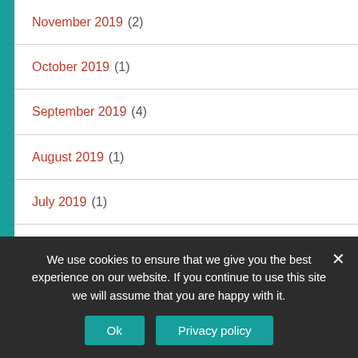November 2019 (2)
October 2019 (1)
September 2019 (4)
August 2019 (1)
July 2019 (1)
June 2019 (4)
April 2019 (4)
March 2019 (3)
We use cookies to ensure that we give you the best experience on our website. If you continue to use this site we will assume that you are happy with it.